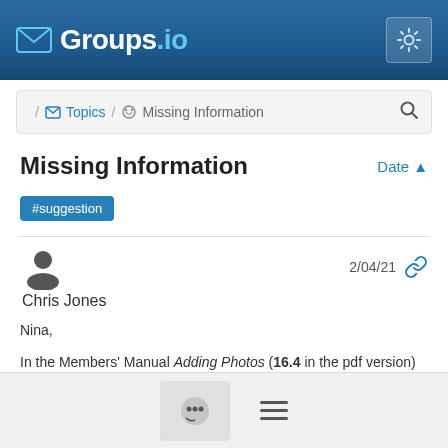Groups.io
/ Topics / Missing Information
Missing Information
Date ▲
#suggestion
Chris Jones 2/04/21
Nina,

In the Members' Manual Adding Photos (16.4 in the pdf version) is the sentence (under Note:) If the Add Photos button is not available, either the group has reached its storage limit or members are not allowed to add photos to the group.